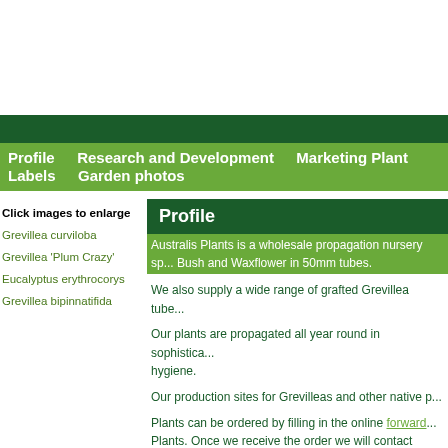Profile  Research and Development  Marketing Plant Labels  Garden photos
Click images to enlarge
Grevillea curviloba
Grevillea 'Plum Crazy'
Eucalyptus erythrocorys
Grevillea bipinnatifida
Profile
Australis Plants is a wholesale propagation nursery sp... Bush and Waxflower in 50mm tubes.
We also supply a wide range of grafted Grevillea tube...
Our plants are propagated all year round in sophistica... hygiene.
Our production sites for Grevilleas and other native p...
Plants can be ordered by filling in the online forward... Plants. Once we receive the order we will contact you... in time for your production schedule we recommend...